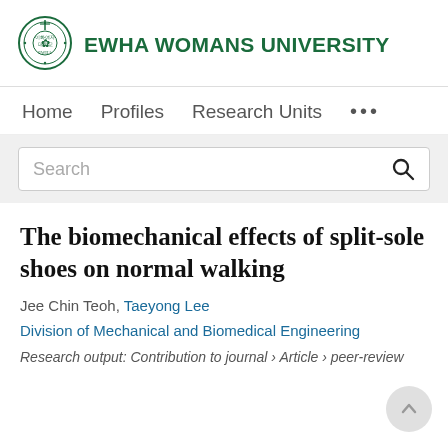[Figure (logo): Ewha Womans University circular seal/logo in green]
EWHA WOMANS UNIVERSITY
Home   Profiles   Research Units   ...
Search
The biomechanical effects of split-sole shoes on normal walking
Jee Chin Teoh, Taeyong Lee
Division of Mechanical and Biomedical Engineering
Research output: Contribution to journal › Article › peer-review